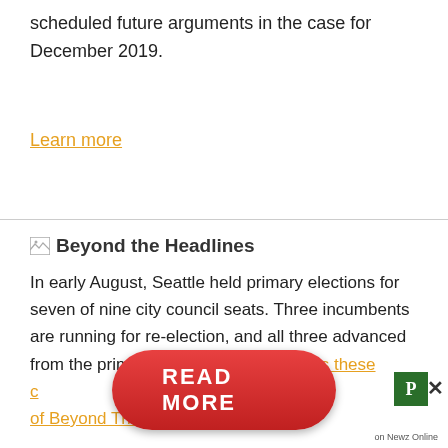scheduled future arguments in the case for December 2019.
Learn more
Beyond the Headlines
In early August, Seattle held primary elections for seven of nine city council seats. Three incumbents are running for re-election, and all three advanced from the primary. Find out who supports these [candidates] in this episode of Beyond The Headlines.
[Figure (other): READ MORE button overlay with P badge and Newz Online label]